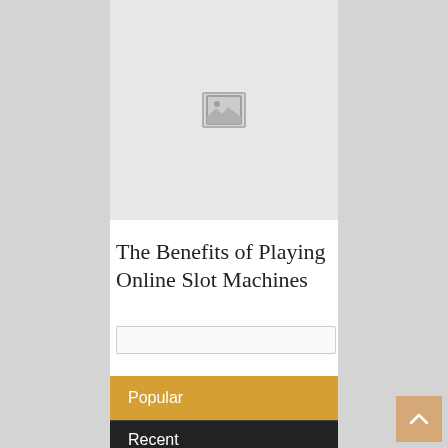[Figure (photo): Broken/missing image placeholder icon in a light gray box]
The Benefits of Playing Online Slot Machines
[Figure (other): Search input box]
Popular
Recent